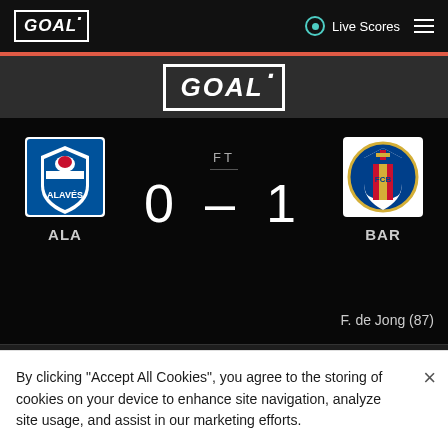GOAL · Live Scores
[Figure (logo): GOAL logo centered in dark section]
[Figure (infographic): Football match score card: ALA 0 - 1 BAR, FT, scorer F. de Jong (87)]
By clicking "Accept All Cookies", you agree to the storing of cookies on your device to enhance site navigation, analyze site usage, and assist in our marketing efforts.